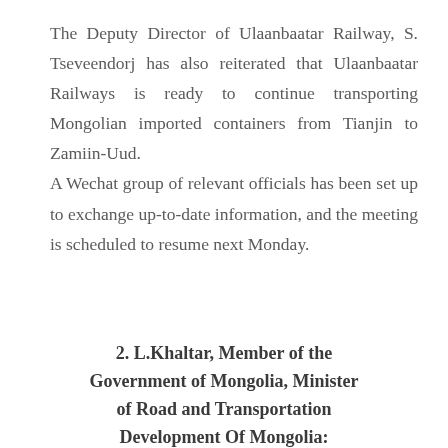The Deputy Director of Ulaanbaatar Railway, S. Tseveendorj has also reiterated that Ulaanbaatar Railways is ready to continue transporting Mongolian imported containers from Tianjin to Zamiin-Uud. A Wechat group of relevant officials has been set up to exchange up-to-date information, and the meeting is scheduled to resume next Monday.
2. L.Khaltar, Member of the Government of Mongolia, Minister of Road and Transportation Development Of Mongolia: